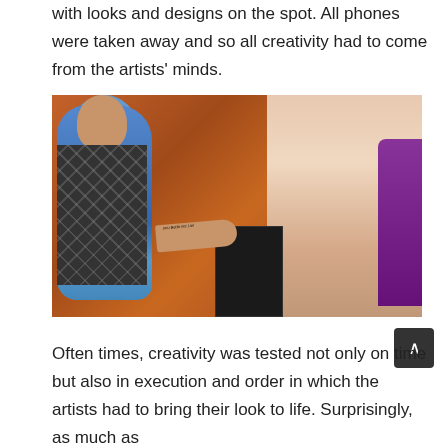with looks and designs on the spot. All phones were taken away and so all creativity had to come from the artists' minds.
[Figure (photo): A person with elaborate blue body paint stands next to a smiling man in an argyle vest. The body-painted person extends an arm toward the man. An orange/rust curtain is visible in the background. A purple-clad person is visible at the right edge of the frame.]
Often times, creativity was tested not only on time but also in execution and order in which the artists had to bring their look to life. Surprisingly, as much as